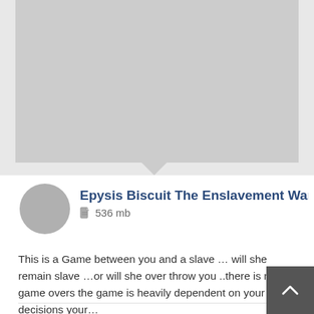[Figure (photo): Gray placeholder image area at the top of the page]
Epysis Biscuit The Enslavement War versio
536 mb
This is a Game between you and a slave … will she remain slave …or will she over throw you ..there is no game overs the game is heavily dependent on your decisions your…